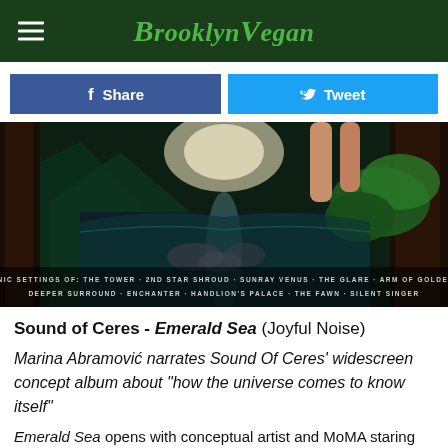BrooklynVegan
[Figure (illustration): Album cover art for Sound of Ceres Emerald Sea showing a fantasy landscape with a moonlit lake, trees, and a figure, with track listing text overlay at bottom]
Sound of Ceres - Emerald Sea (Joyful Noise)
Marina Abramović narrates Sound Of Ceres' widescreen concept album about "how the universe comes to know itself"
Emerald Sea opens with conceptual artist and MoMA staring contest champion Marina Abramović intoning "I am the